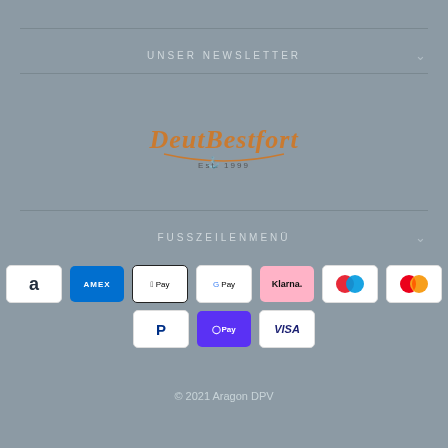LIVE TERMIN MIT BARBARA
UNSER NEWSLETTER
[Figure (logo): DeutBestfort Est. 1999 logo in orange script with anchor]
FUSSZEILENMENÜ
[Figure (infographic): Payment method icons: Amazon, Amex, Apple Pay, Google Pay, Klarna, Maestro, Mastercard, PayPal, Shop Pay, Visa]
© 2021 Aragon DPV